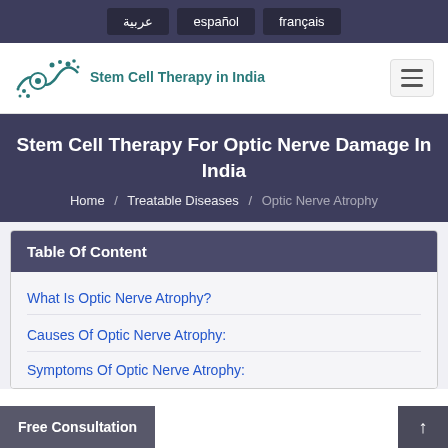عربية / español / français
[Figure (logo): Stem Cell Therapy in India logo with teal circular graphic and text]
Stem Cell Therapy For Optic Nerve Damage In India
Home / Treatable Diseases / Optic Nerve Atrophy
Table Of Content
What Is Optic Nerve Atrophy?
Causes Of Optic Nerve Atrophy:
Symptoms Of Optic Nerve Atrophy: